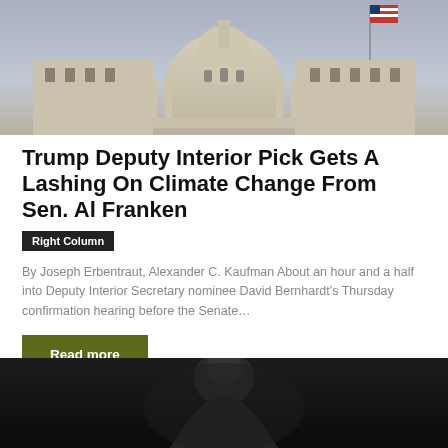[Figure (photo): Aerial/side view of the US Capitol building dome with columns and an American flag, against a grey sky]
Trump Deputy Interior Pick Gets A Lashing On Climate Change From Sen. Al Franken
Right Column
By Joseph Erbentraut, Alexander C. Kaufman About an hour and a half into Deputy Interior Secretary nominee David Bernhardt's Thursday confirmation hearing before the Senate…
Read more
[Figure (photo): Dark photo of a person, partially visible, appearing to look downward]